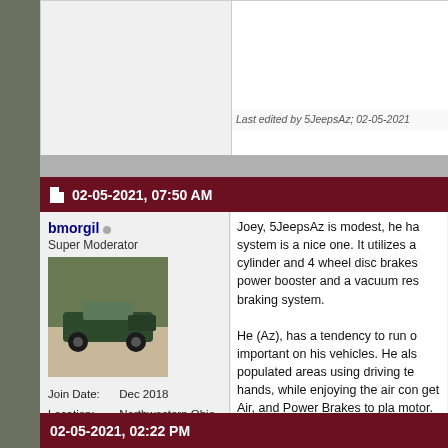Last edited by 5JeepsAz; 02-05-2021
02-05-2021, 07:50 AM
bmorgil
Super Moderator
[Figure (photo): Avatar photo of a dark green vintage Jeep parked outdoors]
Join Date: Dec 2018
Location: Northwestern Ohio
Posts: 2,729
Joey, 5JeepsAz is modest, he ha system is a nice one. It utilizes a cylinder and 4 wheel disc brakes power booster and a vacuum res braking system.

He (Az), has a tendency to run o important on his vehicles. He als populated areas using driving te hands, while enjoying the air con get Air, and Power Brakes to pla motor. There is another member conversion. I cant find it but, he That has control issues, so I beli the front first to avoid a dangero sure a CJ with front discs and st
02-05-2021, 02:22 PM